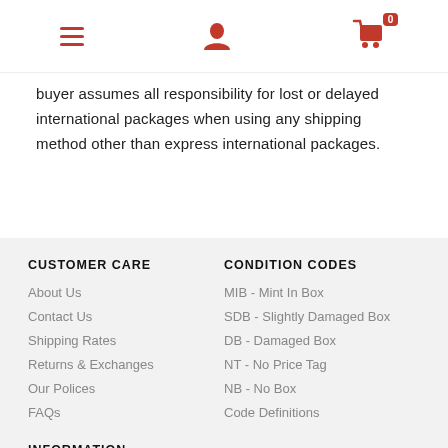Navigation header with hamburger menu, user icon, and shopping cart with 0 items
buyer assumes all responsibility for lost or delayed international packages when using any shipping method other than express international packages.
CUSTOMER CARE
About Us
Contact Us
Shipping Rates
Returns & Exchanges
Our Polices
FAQs
CONDITION CODES
MIB - Mint In Box
SDB - Slightly Damaged Box
DB - Damaged Box
NT - No Price Tag
NB - No Box
Code Definitions
INFORMATION
Selling Your Collection